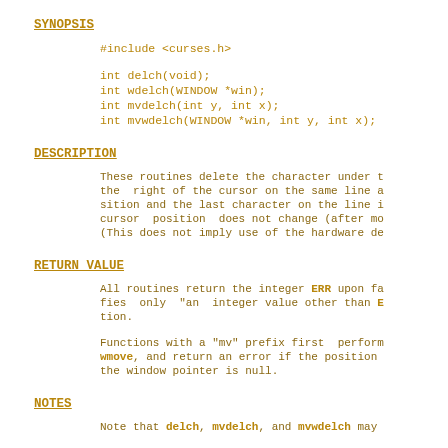SYNOPSIS
#include <curses.h>
int delch(void);
int wdelch(WINDOW *win);
int mvdelch(int y, int x);
int mvwdelch(WINDOW *win, int y, int x);
DESCRIPTION
These routines delete the character under t the  right of the cursor on the same line a sition and the last character on the line i cursor  position  does not change (after mo (This does not imply use of the hardware de
RETURN VALUE
All routines return the integer ERR upon fa fies  only  "an  integer value other than E tion.
Functions with a "mv" prefix first  perform wmove, and return an error if the position the window pointer is null.
NOTES
Note that delch, mvdelch, and mvwdelch may